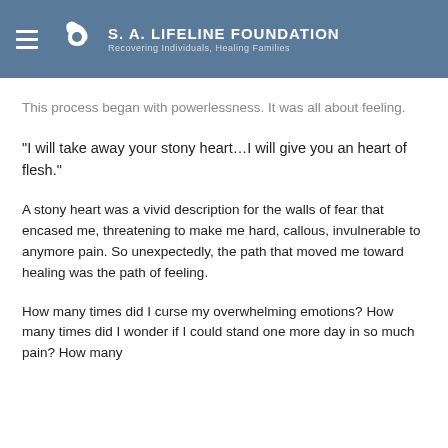S. A. LIFELINE FOUNDATION — Recovering Individuals, Healing Families
This process began with powerlessness. It was all about feeling.
“I will take away your stony heart…I will give you an heart of flesh.”
A stony heart was a vivid description for the walls of fear that encased me, threatening to make me hard, callous, invulnerable to anymore pain. So unexpectedly, the path that moved me toward healing was the path of feeling.
How many times did I curse my overwhelming emotions? How many times did I wonder if I could stand one more day in so much pain? How many